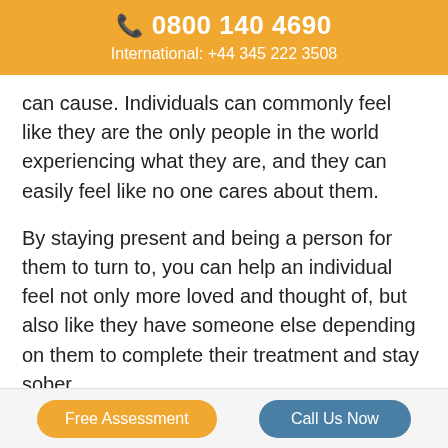📞 0800 140 4690
International: +44 345 222 3508
can cause. Individuals can commonly feel like they are the only people in the world experiencing what they are, and they can easily feel like no one cares about them.
By staying present and being a person for them to turn to, you can help an individual feel not only more loved and thought of, but also like they have someone else depending on them to complete their treatment and stay sober.
This piece of motivation can keep them on track
Free Assessment | Call Us Now